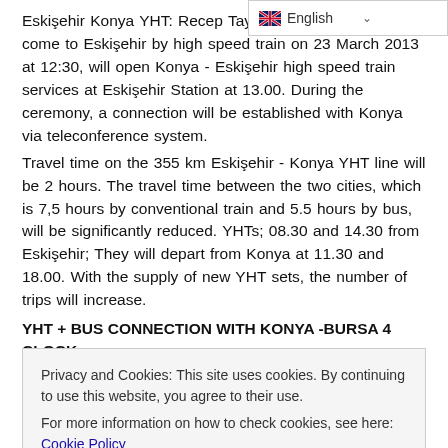English (language selector bar)
Eskişehir Konya YHT: Recep Tayyip Erdoğan, who will come to Eskişehir by high speed train on 23 March 2013 at 12:30, will open Konya - Eskişehir high speed train services at Eskişehir Station at 13.00. During the ceremony, a connection will be established with Konya via teleconference system.
Travel time on the 355 km Eskişehir - Konya YHT line will be 2 hours. The travel time between the two cities, which is 7,5 hours by conventional train and 5.5 hours by bus, will be significantly reduced. YHTs; 08.30 and 14.30 from Eskişehir; They will depart from Konya at 11.30 and 18.00. With the supply of new YHT sets, the number of trips will increase.
YHT + BUS CONNECTION WITH KONYA -BURSA 4 CLOCK
Eskişehir-Konya YHT flights, Bursa bus connection will be
Privacy and Cookies: This site uses cookies. By continuing to use this website, you agree to their use.
For more information on how to check cookies, see here: Cookie Policy
OK
share with 9 increased to 72 after YHT. In Ankara-Konya, 70